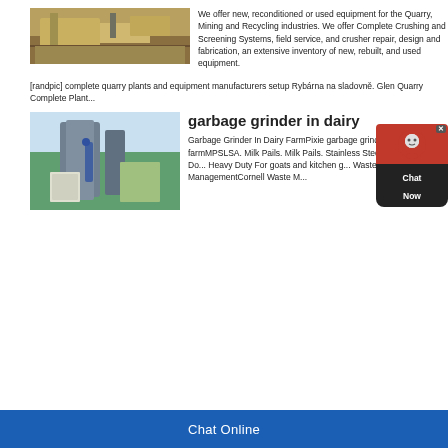[Figure (photo): Quarry/mining crushing equipment outdoors]
We offer new, reconditioned or used equipment for the Quarry, Mining and Recycling industries. We offer Complete Crushing and Screening Systems, field service, and crusher repair, design and fabrication, an extensive inventory of new, rebuilt, and used equipment.
[randpic] complete quarry plants and equipment manufacturers setup Rybárna na sladovně. Glen Quarry Complete Plant...
garbage grinder in dairy
[Figure (photo): Industrial grain/dairy processing silos with blue pipes]
Garbage Grinder In Dairy FarmPixie garbage grinder in dairy farmMPSLSA. Milk Pails. Milk Pails. Stainless Steel Bucket Pail 1 Qt Do... Heavy Duty For goats and kitchen g... Waste ManagementCornell Waste M...
Chat Online